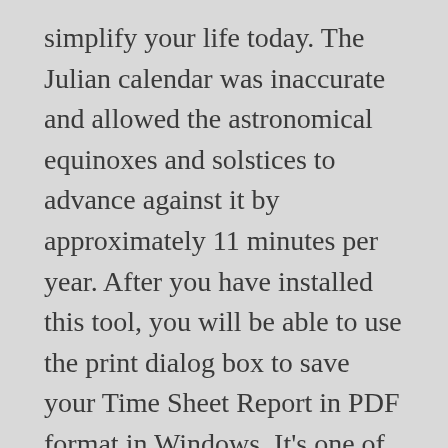simplify your life today. The Julian calendar was inaccurate and allowed the astronomical equinoxes and solstices to advance against it by approximately 11 minutes per year. After you have installed this tool, you will be able to use the print dialog box to save your Time Sheet Report in PDF format in Windows. It's one of the best online productivity tools for those often finding themselves traveling, in flights, in online meetings or just calling friends and family abroad. This generates your final Time Card Calculation report that can be used for payroll management. Let's say your hourly rate is $20- you can enter that in the hourly rate box and then click on Calculate. This constituted the 24 hours that